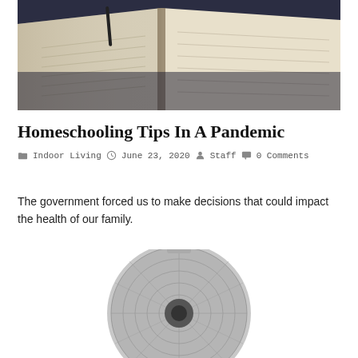[Figure (photo): Open books/notebooks on a dark table, photographed from above at an angle, showing pages with handwriting]
Homeschooling Tips In A Pandemic
📁 Indoor Living  🕐 June 23, 2020  👤 Staff  💬 0 Comments
The government forced us to make decisions that could impact the health of our family.
[Figure (photo): A metallic/silver industrial fan, partially visible, on white background]